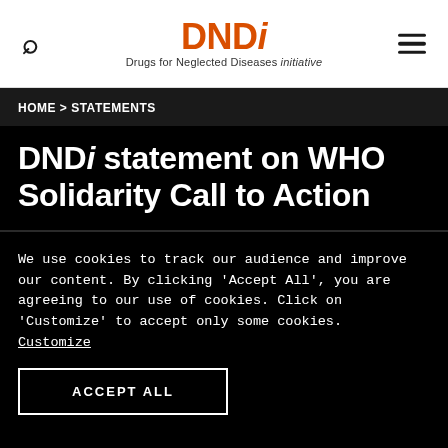DNDi — Drugs for Neglected Diseases initiative
HOME > STATEMENTS
DNDi statement on WHO Solidarity Call to Action
We use cookies to track our audience and improve our content. By clicking 'Accept All', you are agreeing to our use of cookies. Click on 'Customize' to accept only some cookies. Customize
ACCEPT ALL